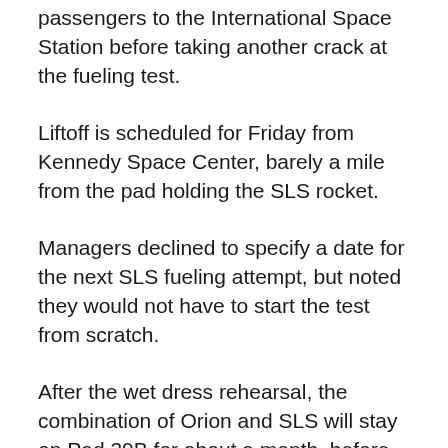passengers to the International Space Station before taking another crack at the fueling test.
Liftoff is scheduled for Friday from Kennedy Space Center, barely a mile from the pad holding the SLS rocket.
Managers declined to specify a date for the next SLS fueling attempt, but noted they would not have to start the test from scratch.
After the wet dress rehearsal, the combination of Orion and SLS will stay on Pad 39B for about a month, before rolling back into the hanger for more analysis.
While it is the first mission for the massive